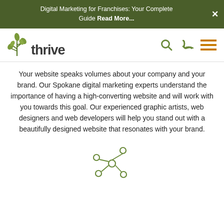Digital Marketing for Franchises: Your Complete Guide Read More...
[Figure (logo): Thrive agency logo with green leaf/plant icon above the wordmark 'thrive']
Your website speaks volumes about your company and your brand. Our Spokane digital marketing experts understand the importance of having a high-converting website and will work with you towards this goal. Our experienced graphic artists, web designers and web developers will help you stand out with a beautifully designed website that resonates with your brand.
[Figure (illustration): Olive/green network graph icon showing a central node connected to several surrounding nodes with lines]